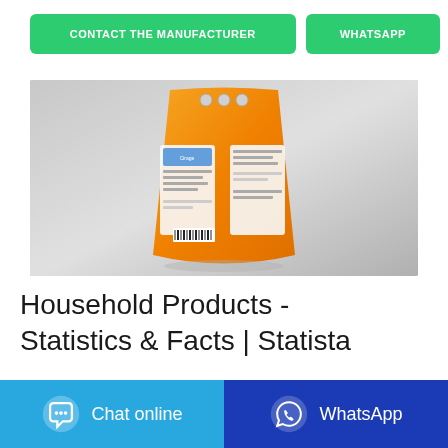[Figure (other): Two green buttons: 'CONTACT THE MANUFACTURER' and 'WHATSAPP']
[Figure (photo): Orange plastic laundry detergent bag product (Citoge brand) with label information on a gray background]
Household Products -
Statistics & Facts | Statista
[Figure (other): Bottom bar with two buttons: 'Chat online' (light blue) and 'WhatsApp' (dark blue)]